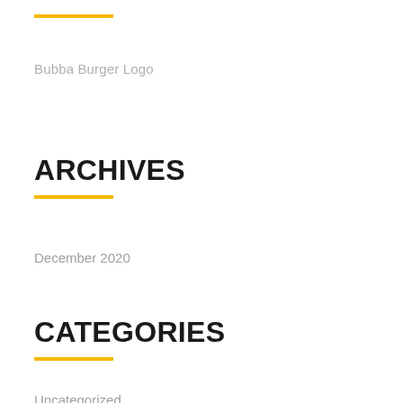[Figure (logo): Yellow horizontal rule decorative line at top]
Bubba Burger Logo
ARCHIVES
December 2020
CATEGORIES
Uncategorized